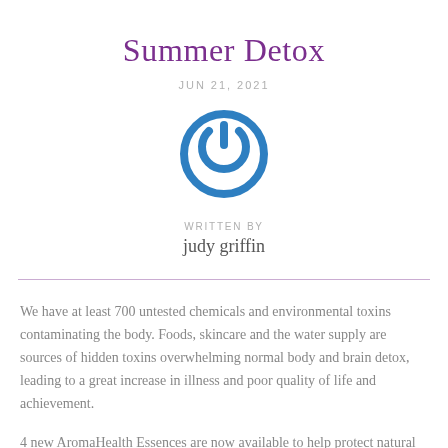Summer Detox
JUN 21, 2021
[Figure (logo): Blue circular power button icon]
WRITTEN BY
judy griffin
We have at least 700 untested chemicals and environmental toxins contaminating the body. Foods, skincare and the water supply are sources of hidden toxins overwhelming normal body and brain detox, leading to a great increase in illness and poor quality of life and achievement.
4 new AromaHealth Essences are now available to help protect natural